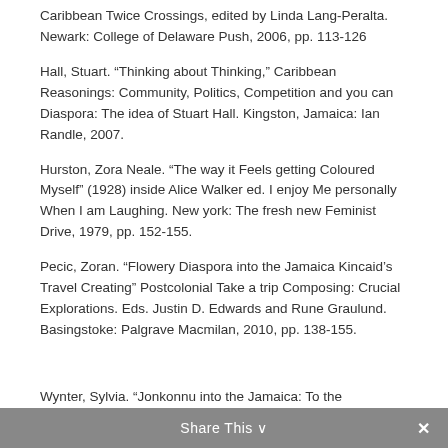Caribbean Twice Crossings, edited by Linda Lang-Peralta. Newark: College of Delaware Push, 2006, pp. 113-126
Hall, Stuart. “Thinking about Thinking,” Caribbean Reasonings: Community, Politics, Competition and you can Diaspora: The idea of Stuart Hall. Kingston, Jamaica: Ian Randle, 2007.
Hurston, Zora Neale. “The way it Feels getting Coloured Myself” (1928) inside Alice Walker ed. I enjoy Me personally When I am Laughing. New york: The fresh new Feminist Drive, 1979, pp. 152-155.
Pecic, Zoran. “Flowery Diaspora into the Jamaica Kincaid’s Travel Creating” Postcolonial Take a trip Composing: Crucial Explorations. Eds. Justin D. Edwards and Rune Graulund. Basingstoke: Palgrave Macmilan, 2010, pp. 138-155.
Share This
Wynter, Sylvia. “Jonkonnu into the Jamaica: To the